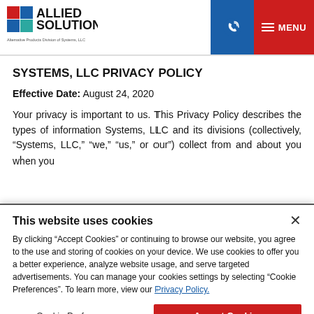Allied Solutions - Systems, LLC Privacy Policy page header with logo and navigation
SYSTEMS, LLC PRIVACY POLICY
Effective Date: August 24, 2020
Your privacy is important to us. This Privacy Policy describes the types of information Systems, LLC and its divisions (collectively, “Systems, LLC,” “we,” “us,” or our”) collect from and about you when you
This website uses cookies
By clicking “Accept Cookies” or continuing to browse our website, you agree to the use and storing of cookies on your device. We use cookies to offer you a better experience, analyze website usage, and serve targeted advertisements. You can manage your cookies settings by selecting “Cookie Preferences”. To learn more, view our Privacy Policy.